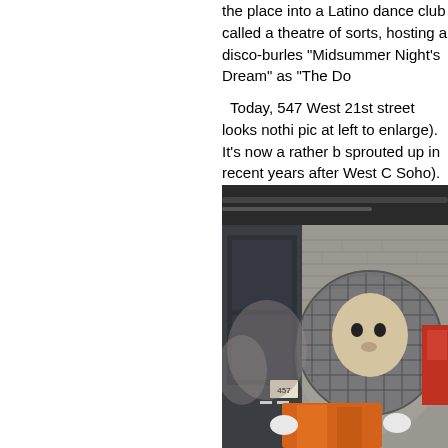the place into a Latino dance club called a theatre of sorts, hosting a disco-burles "Midsummer Night's Dream" as "The Do
Today, 547 West 21st street looks nothi pic at left to enlarge). It's now a rather b sprouted up in recent years after West C Soho). I'm glad it's an art gallery instead lying if I said I didn't miss those late nigh
Below are some other pics I snapped alo
[Figure (photo): Street photograph showing a building wall with graffiti/mural art depicting a figure in an orange outfit with a large helmet or round head, with the number 457 visible on a sticker near the bottom left. The building has a dark metal door and aged brick walls.]